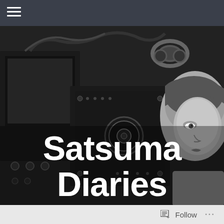☰
[Figure (photo): Black and white photograph of a woman with short hair next to vintage radio/telegraph equipment with dials, cables, and headphones. Large white bold text overlay reads 'Satsuma Diaries'.]
Satsuma Diaries
Follow  ...